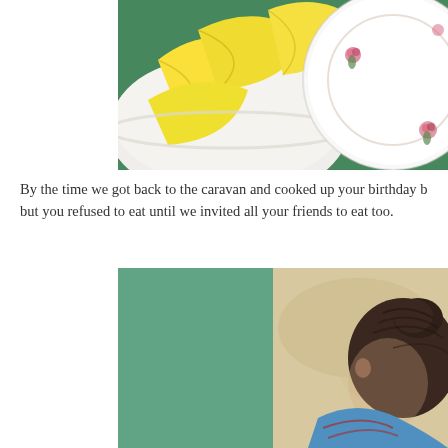[Figure (photo): Close-up photo of lemon wedges in a white bowl on a green surface, with a white plate with pink rose motifs visible on the right.]
By the time we got back to the caravan and cooked up your birthday b but you refused to eat until we invited all your friends to eat too.
[Figure (photo): Photo of a young child with dark hair in a bun, wearing a blue patterned top, with a blurred outdoor background.]